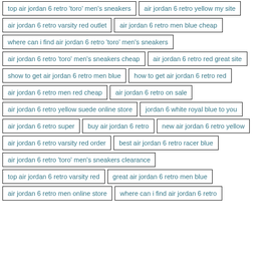top air jordan 6 retro 'toro' men's sneakers
air jordan 6 retro yellow my site
air jordan 6 retro varsity red outlet
air jordan 6 retro men blue cheap
where can i find air jordan 6 retro 'toro' men's sneakers
air jordan 6 retro 'toro' men's sneakers cheap
air jordan 6 retro red great site
show to get air jordan 6 retro men blue
how to get air jordan 6 retro red
air jordan 6 retro men red cheap
air jordan 6 retro on sale
air jordan 6 retro yellow suede online store
jordan 6 white royal blue to you
air jordan 6 retro super
buy air jordan 6 retro
new air jordan 6 retro yellow
air jordan 6 retro varsity red order
best air jordan 6 retro racer blue
air jordan 6 retro 'toro' men's sneakers clearance
top air jordan 6 retro varsity red
great air jordan 6 retro men blue
air jordan 6 retro men online store
where can i find air jordan 6 retro